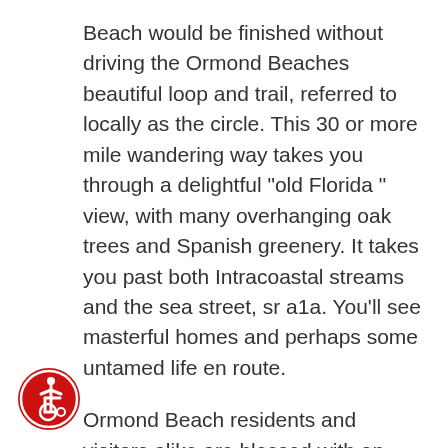Beach would be finished without driving the Ormond Beaches beautiful loop and trail, referred to locally as the circle. This 30 or more mile wandering way takes you through a delightful "old Florida " view, with many overhanging oak trees and Spanish greenery. It takes you past both Intracoastal streams and the sea street, sr a1a. You'll see masterful homes and perhaps some untamed life en route.
Ormond Beach residents and visitors alike are blessed with an abundance of parks and outdoor recreation opportunities. Tomoka State Park and below creek state park are located within the city and offer thousands of wilderness acres to explore. They are famous for kayaking, fishing, other water sports, ng, birdwatching, and history.
[Figure (other): Accessibility icon: white wheelchair user symbol on red circular background]